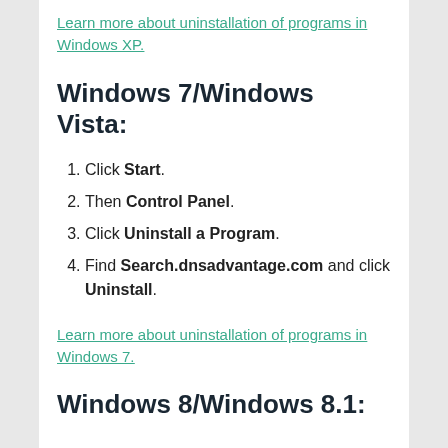Learn more about uninstallation of programs in Windows XP.
Windows 7/Windows Vista:
Click Start.
Then Control Panel.
Click Uninstall a Program.
Find Search.dnsadvantage.com and click Uninstall.
Learn more about uninstallation of programs in Windows 7.
Windows 8/Windows 8.1: